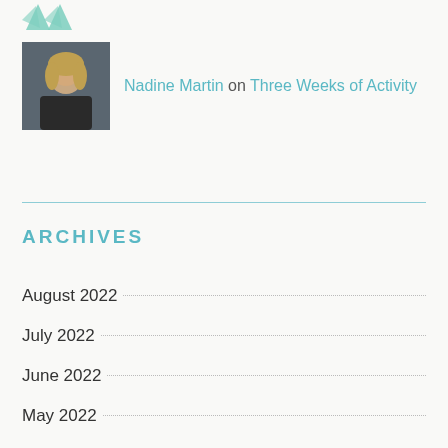[Figure (logo): Green leaf/plant icon at top left]
Nadine Martin on Three Weeks of Activity
ARCHIVES
August 2022
July 2022
June 2022
May 2022
April 2022
March 2022
January 2022